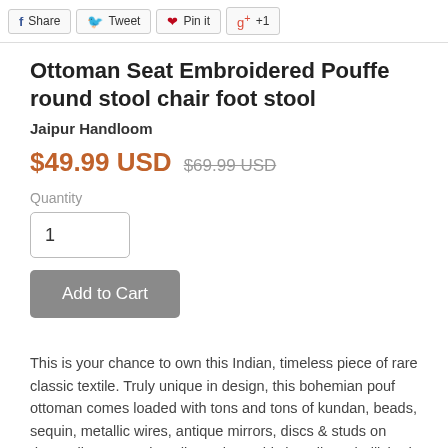Share  Tweet  Pin it  +1
Ottoman Seat Embroidered Pouffe round stool chair foot stool
Jaipur Handloom
$49.99 USD  $69.99 USD
Quantity
1
Add to Cart
This is your chance to own this Indian, timeless piece of rare classic textile. Truly unique in design, this bohemian pouf ottoman comes loaded with tons and tons of kundan, beads, sequin, metallic wires, antique mirrors, discs & studs on deep, vibrant, exotic Indian colors. This heavily embellished pouf is a stunning mosaic of heavy gold